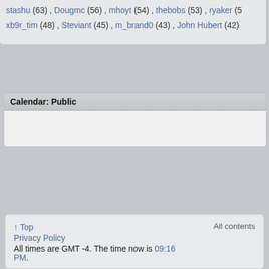stashu (63) , Dougmc (56) , mhoyt (54) , thebobs (53) , ryaker (5... xb9r_tim (48) , Steviant (45) , m_brand0 (43) , John Hubert (42)
Calendar: Public
↑ Top   Privacy Policy   All times are GMT -4. The time now is 09:16 PM.